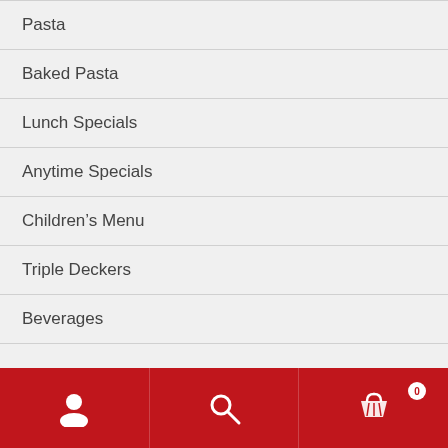Pasta
Baked Pasta
Lunch Specials
Anytime Specials
Children's Menu
Triple Deckers
Beverages
User | Search | Cart (0)